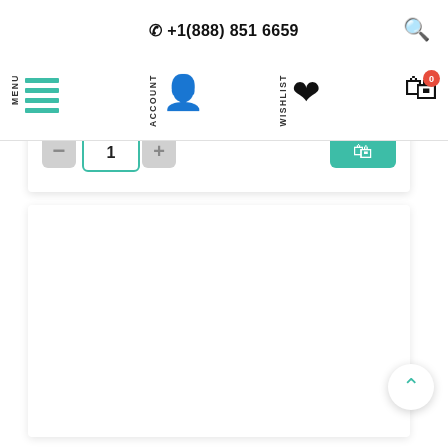+1(888) 851 6659
[Figure (screenshot): E-commerce website navigation bar showing MENU (hamburger with teal lines), ACCOUNT (person icon), WISHLIST (heart icon), and cart icon with badge showing 0. Also shows quantity selector with minus/plus buttons and add-to-cart teal button. Large white content area below navigation.]